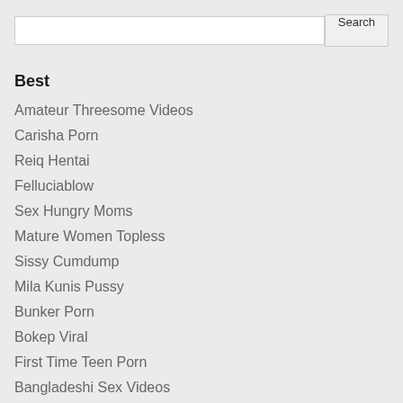Best
Amateur Threesome Videos
Carisha Porn
Reiq Hentai
Felluciablow
Sex Hungry Moms
Mature Women Topless
Sissy Cumdump
Mila Kunis Pussy
Bunker Porn
Bokep Viral
First Time Teen Porn
Bangladeshi Sex Videos